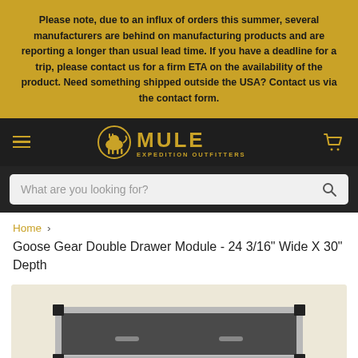Please note, due to an influx of orders this summer, several manufacturers are behind on manufacturing products and are reporting a longer than usual lead time. If you have a deadline for a trip, please contact us for a firm ETA on the availability of the product. Need something shipped outside the USA? Contact us via the contact form.
[Figure (logo): Mule Expedition Outfitters logo with hamburger menu and cart icon on dark background]
[Figure (screenshot): Search bar with placeholder text 'What are you looking for?' and search icon on dark background]
Home > Goose Gear Double Drawer Module - 24 3/16" Wide X 30" Depth
[Figure (photo): Goose Gear Double Drawer Module product photo showing top of silver/grey drawer unit with black corner brackets on beige background]